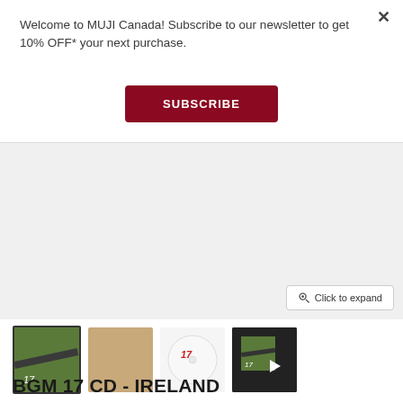Welcome to MUJI Canada! Subscribe to our newsletter to get 10% OFF* your next purchase.
SUBSCRIBE
[Figure (photo): Product image area showing a grey placeholder for BGM 17 CD - Ireland product photo with a 'Click to expand' button]
[Figure (photo): Four product thumbnail images: 1) grass/field album cover with '17' label (active/selected), 2) kraft paper CD sleeve in tan/brown, 3) white CD disc with red '17' label, 4) video thumbnail with play button showing the album cover]
BGM 17 CD - IRELAND